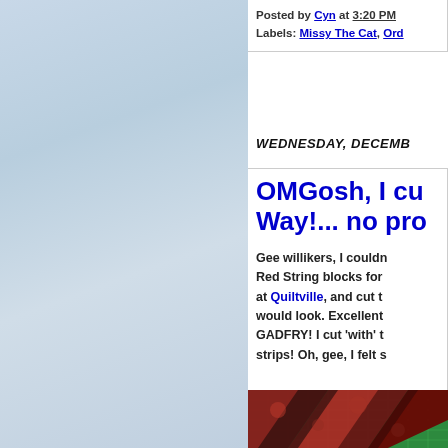[Figure (photo): Light blue sky with soft clouds, left half of page background]
Posted by Cyn at 3:20 PM
Labels: Missy The Cat, Ord
WEDNESDAY, DECEMB
OMGosh, I cu Way!... no pro
Gee willikers, I couldn Red String blocks for at Quiltville, and cut t would look. Excellent GADFRY! I cut 'with' t strips! Oh, gee, I felt s
[Figure (photo): Colorful quilt fabric pieces in red, green, and dark tones on a cutting mat]